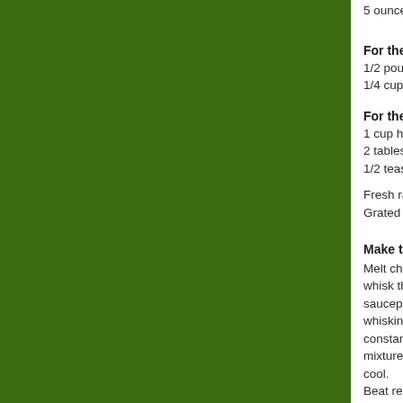5 ounces (150 gra...
For the raspberry
1/2 pound fresh ras...
1/4 cup sugar
For the whipped c...
1 cup heavy cream...
2 tablespoons sifte...
1/2 teaspoon vanil...
Fresh raspberries
Grated chocolate
Make the chocola...
Melt chocolate in a... whisk the egg yolks... saucepan until hot... whisking to combin... constantly with a w... mixture through a f... cool. Beat remaining 1 1... of the whipped...